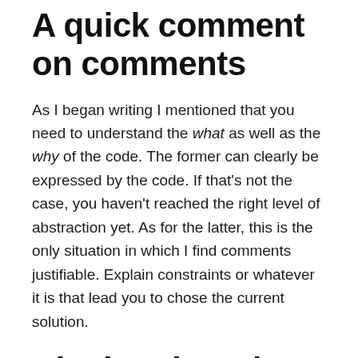A quick comment on comments
As I began writing I mentioned that you need to understand the what as well as the why of the code. The former can clearly be expressed by the code. If that's not the case, you haven't reached the right level of abstraction yet. As for the latter, this is the only situation in which I find comments justifiable. Explain constraints or whatever it is that lead you to chose the current solution.
Closing thoughts
Man, that was longer than I expected! I hope this can give you some hints on what to look for the next time you are on a code review (yours or someone